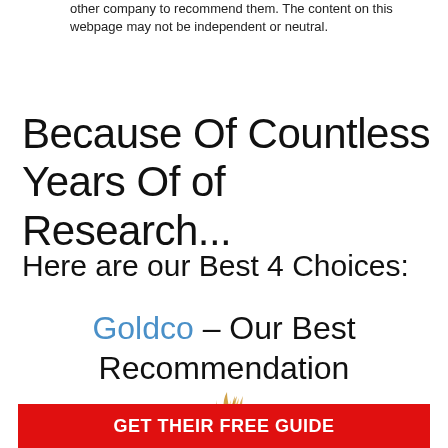other company to recommend them. The content on this webpage may not be independent or neutral.
Because Of Countless Years Of of Research...
Here are our Best 4 Choices:
Goldco – Our Best Recommendation
[Figure (logo): Goldco logo with golden flame/swirl icon above the text GOLDCO with registered trademark symbol]
GET THEIR FREE GUIDE